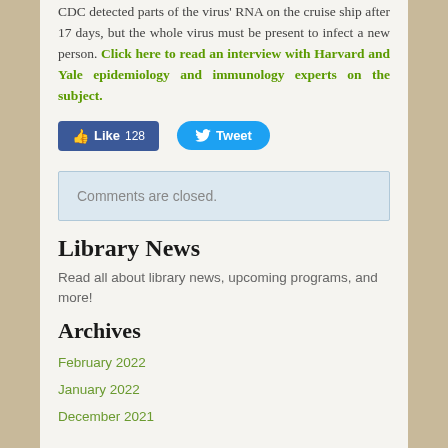CDC detected parts of the virus' RNA on the cruise ship after 17 days, but the whole virus must be present to infect a new person. Click here to read an interview with Harvard and Yale epidemiology and immunology experts on the subject.
[Figure (other): Social media buttons: Facebook Like button showing 128 likes, and Twitter Tweet button]
Comments are closed.
Library News
Read all about library news, upcoming programs, and more!
Archives
February 2022
January 2022
December 2021